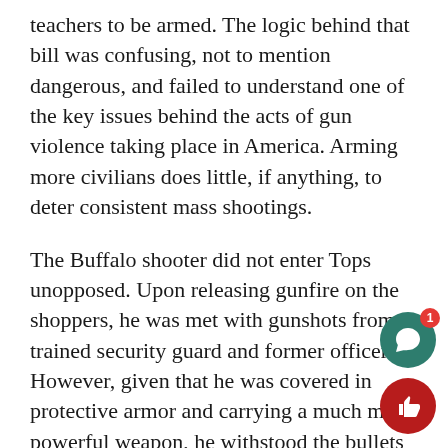teachers to be armed. The logic behind that bill was confusing, not to mention dangerous, and failed to understand one of the key issues behind the acts of gun violence taking place in America. Arming more civilians does little, if anything, to deter consistent mass shootings.
The Buffalo shooter did not enter Tops unopposed. Upon releasing gunfire on the shoppers, he was met with gunshots from a trained security guard and former officer. However, given that he was covered in protective armor and carrying a much more powerful weapon, he withstood the bullets and returned fire, killing the security guard. When civilians are continuously able to access high-powered weapons, makes it more difficult for the average officer, or teacher, carrying a handgun to apprehend them.
The University of North Florida (UNF) is no stranger
[Figure (other): Green circular chat button with red notification badge showing '1', and a red circular thumbs-up button below it — UI overlay elements on a news article page.]